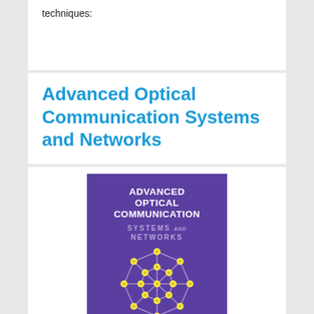techniques:
Advanced Optical Communication Systems and Networks
[Figure (illustration): Book cover for 'Advanced Optical Communication Systems and Networks' with purple background, white bold title text, and a network diagram with yellow nodes connected by lines arranged in a circular pattern]